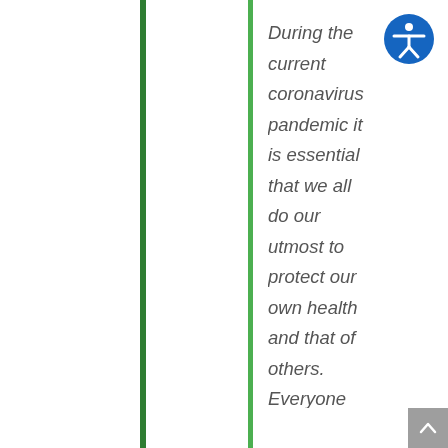During the current coronavirus pandemic it is essential that we all do our utmost to protect our own health and that of others. Everyone must follow the guidance that the government is issuing regularly. In particular it is important that people follow the guidance on regular hand washing and staying at home. We should only leave the house for essential shopping, for medical reasons or to attend work but only if this is essential and can't be done